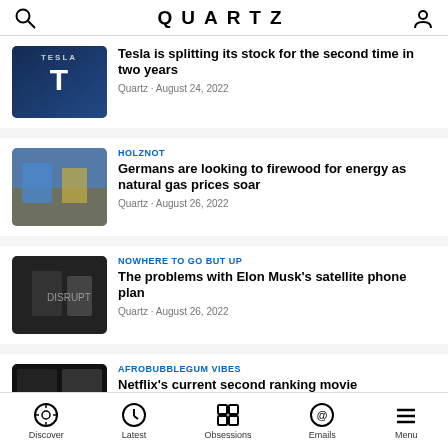QUARTZ
[Figure (photo): Tesla logo on a dark blue building]
Tesla is splitting its stock for the second time in two years
Quartz · August 24, 2022
[Figure (photo): People with blue and yellow items at a market, firewood scene]
HOLZNOT
Germans are looking to firewood for energy as natural gas prices soar
Quartz · August 26, 2022
[Figure (photo): Elon Musk speaking at an event, dark background]
NOWHERE TO GO BUT UP
The problems with Elon Musk's satellite phone plan
Quartz · August 26, 2022
[Figure (photo): People at what appears to be a concert or entertainment event]
AFROBUBBLEGUM VIBES
Netflix's current second ranking movie
Discover · Latest · Obsessions · Emails · Menu